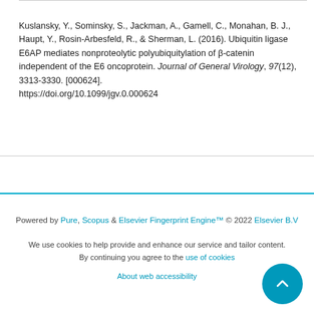Kuslansky, Y., Sominsky, S., Jackman, A., Gamell, C., Monahan, B. J., Haupt, Y., Rosin-Arbesfeld, R., & Sherman, L. (2016). Ubiquitin ligase E6AP mediates nonproteolytic polyubiquitylation of β-catenin independent of the E6 oncoprotein. Journal of General Virology, 97(12), 3313-3330. [000624]. https://doi.org/10.1099/jgv.0.000624
Powered by Pure, Scopus & Elsevier Fingerprint Engine™ © 2022 Elsevier B.V
We use cookies to help provide and enhance our service and tailor content. By continuing you agree to the use of cookies
About web accessibility